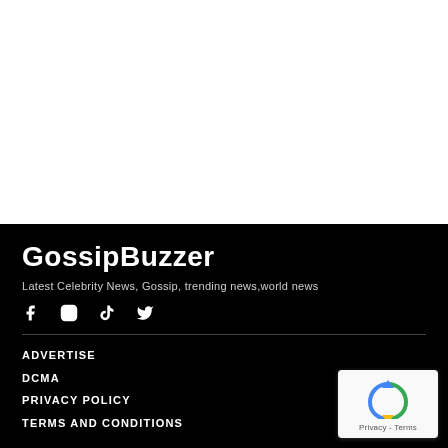GossipBuzzer
Latest Celebrity News, Gossip, trending news,world news
[Figure (other): Social media icons: Facebook, Instagram, TikTok, Twitter]
ADVERTISE
DCMA
PRIVACY POLICY
TERMS AND CONDITIONS
[Figure (other): Google reCAPTCHA badge with Privacy and Terms links]